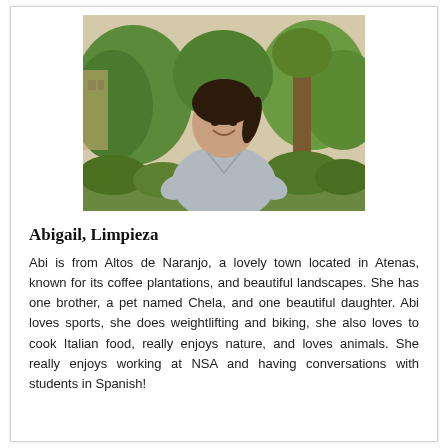[Figure (photo): Portrait photo of Abigail, a young woman with dark hair pulled back, wearing a light blue/grey v-neck scrub top, smiling outdoors with green trees and foliage in the background.]
Abigail, Limpieza
Abi is from Altos de Naranjo, a lovely town located in Atenas, known for its coffee plantations, and beautiful landscapes. She has one brother, a pet named Chela, and one beautiful daughter. Abi loves sports, she does weightlifting and biking, she also loves to cook Italian food, really enjoys nature, and loves animals. She really enjoys working at NSA and having conversations with students in Spanish!